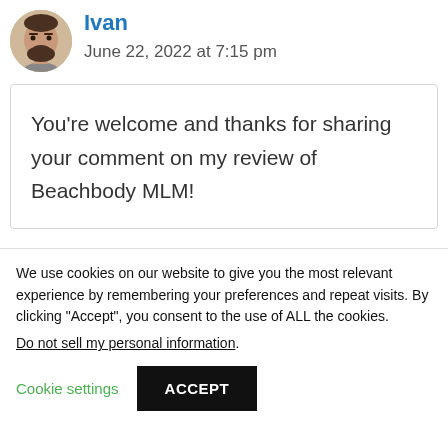Ivan
June 22, 2022 at 7:15 pm
You’re welcome and thanks for sharing your comment on my review of Beachbody MLM!
We use cookies on our website to give you the most relevant experience by remembering your preferences and repeat visits. By clicking “Accept”, you consent to the use of ALL the cookies.
Do not sell my personal information.
Cookie settings
ACCEPT